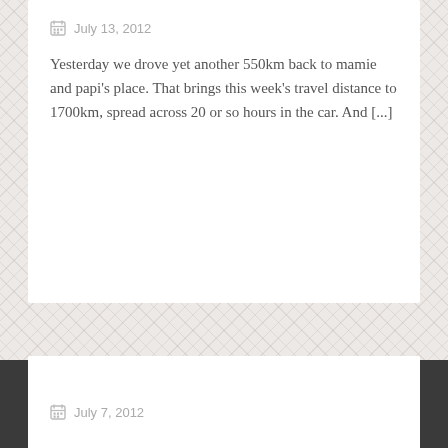July 13, 2012
Yesterday we drove yet another 550km back to mamie and papi's place. That brings this week's travel distance to 1700km, spread across 20 or so hours in the car. And [...]
July 7, 2012